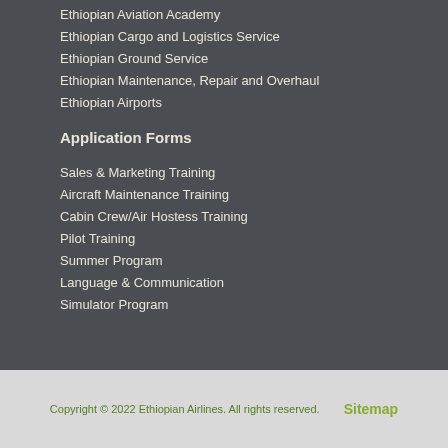Ethiopian Aviation Academy
Ethiopian Cargo and Logistics Service
Ethiopian Ground Service
Ethiopian Maintenance, Repair and Overhaul
Ethiopian Airports
Application Forms
Sales & Marketing Training
Aircraft Maintenance Training
Cabin Crew/Air Hostess Training
Pilot Training
Summer Program
Language & Communication
Simulator Program
Copyright © 2022 Ethiopian Airlines. All rights reserved.   Sitemap